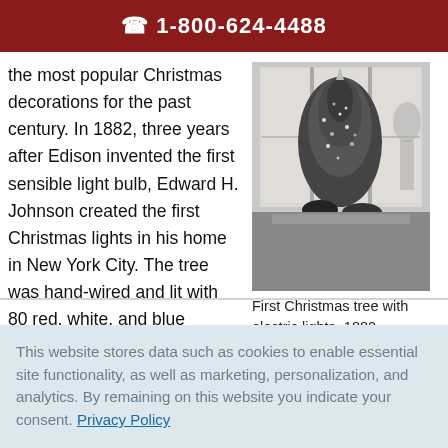☎ 1-800-624-4488
the most popular Christmas decorations for the past century. In 1882, three years after Edison invented the first sensible light bulb, Edward H. Johnson created the first Christmas lights in his home in New York City. The tree was hand-wired and lit with 80 red, white, and blue globes. The lights blinked and twinkled while the tree slowly revolved.
[Figure (photo): Black and white photograph of the first Christmas tree with electric lights, 1882]
First Christmas tree with electric lights, 1882
This website stores data such as cookies to enable essential site functionality, as well as marketing, personalization, and analytics. By remaining on this website you indicate your consent. Privacy Policy